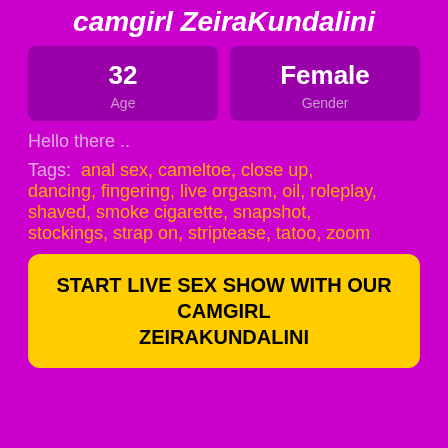camgirl ZeiraKundalini
| Age | Gender |
| --- | --- |
| 32 | Female |
Hello there ..
Tags: anal sex, cameltoe, close up, dancing, fingering, live orgasm, oil, roleplay, shaved, smoke cigarette, snapshot, stockings, strap on, striptease, tatoo, zoom
START LIVE SEX SHOW WITH OUR CAMGIRL ZEIRAKUNDALINI